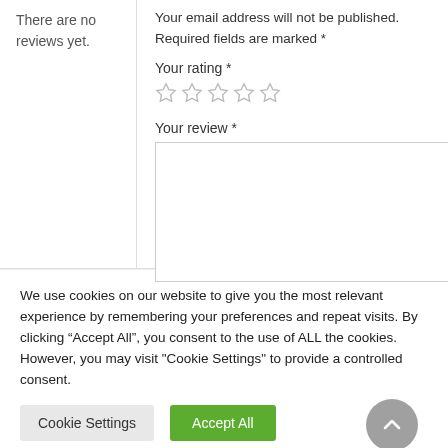There are no reviews yet.
Your email address will not be published.
Required fields are marked *
Your rating *
[Figure (other): Five empty star rating inputs]
Your review *
[Figure (other): Text area input box for review]
We use cookies on our website to give you the most relevant experience by remembering your preferences and repeat visits. By clicking “Accept All”, you consent to the use of ALL the cookies. However, you may visit "Cookie Settings" to provide a controlled consent.
Cookie Settings
Accept All